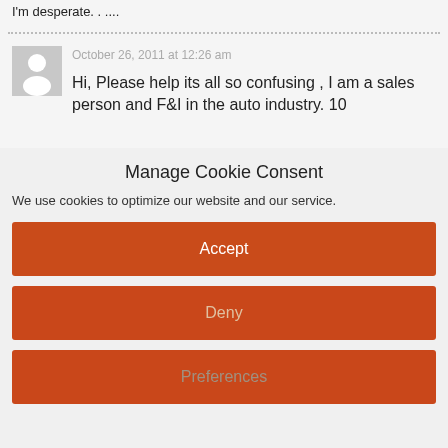I'm desperate. . ....
October 26, 2011 at 12:26 am
[Figure (illustration): Generic user avatar placeholder - grey square with white silhouette of a person]
Hi, Please help its all so confusing , I am a sales person and F&I in the auto industry. 10
Manage Cookie Consent
We use cookies to optimize our website and our service.
Accept
Deny
Preferences